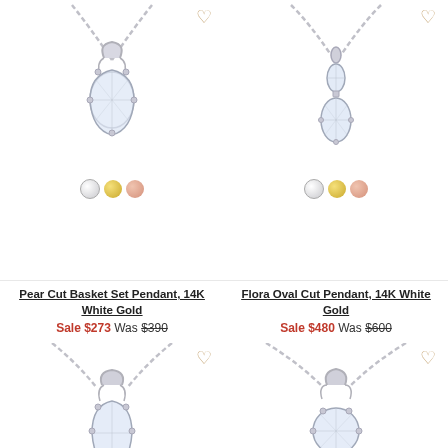[Figure (photo): Pear cut diamond pendant necklace on chain, silver/white gold]
[Figure (photo): Flora oval cut diamond pendant necklace on chain, silver/white gold]
Pear Cut Basket Set Pendant, 14K White Gold
Sale $273 Was $390
Flora Oval Cut Pendant, 14K White Gold
Sale $480 Was $600
[Figure (photo): Diamond pendant necklace on chain, partial view]
[Figure (photo): Diamond pendant necklace on chain, partial view]